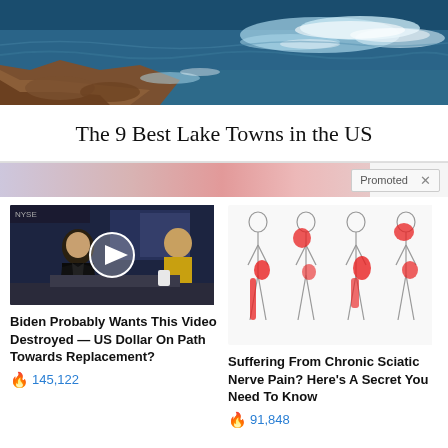[Figure (photo): Ocean waves crashing against rocky shoreline, blue water with white foam, brown rocks in foreground]
The 9 Best Lake Towns in the US
Promoted X
[Figure (photo): Video thumbnail showing a man in suit being interviewed in a TV studio (stock exchange background), with a play button overlay]
Biden Probably Wants This Video Destroyed — US Dollar On Path Towards Replacement?
145,122
[Figure (illustration): Medical illustration showing four human body outlines with red highlighted areas indicating sciatic nerve pain regions on the leg and hip]
Suffering From Chronic Sciatic Nerve Pain? Here's A Secret You Need To Know
91,848